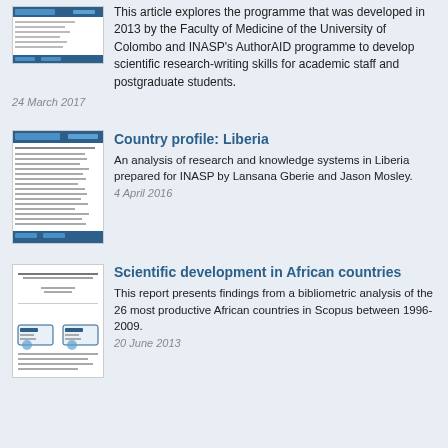[Figure (screenshot): Thumbnail image of a document page with blue header bar]
This article explores the programme that was developed in 2013 by the Faculty of Medicine of the University of Colombo and INASP's AuthorAID programme to develop scientific research-writing skills for academic staff and postgraduate students.
24 March 2017
[Figure (screenshot): Thumbnail image of Country profile: Liberia document page with blue header]
Country profile: Liberia
An analysis of research and knowledge systems in Liberia prepared for INASP by Lansana Gberie and Jason Mosley.
4 April 2016
[Figure (screenshot): Thumbnail image of Scientific development in African countries report cover]
Scientific development in African countries
This report presents findings from a bibliometric analysis of the 26 most productive African countries in Scopus between 1996-2009.
20 June 2013